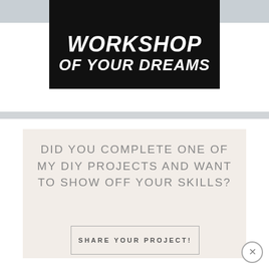Navigation menu icon (hamburger)
[Figure (screenshot): Black background hero banner image with bold white italic text reading 'WORKSHOP OF YOUR DREAMS']
DID YOU COMPLETE ONE OF MY DIY PROJECTS AND WANT TO SHOW OFF YOUR SKILLS?
SHARE YOUR PROJECT!